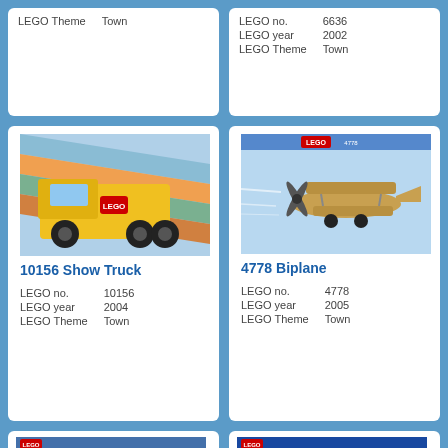LEGO Theme   Town
LEGO no.   6636
LEGO year   2002
LEGO Theme   Town
[Figure (photo): Yellow LEGO Show Truck toy set image]
10156 Show Truck
LEGO no.   10156
LEGO year   2004
LEGO Theme   Town
[Figure (photo): LEGO Biplane set box image showing a biplane flying]
4778 Biplane
LEGO no.   4778
LEGO year   2005
LEGO Theme   Town
[Figure (photo): LEGO set box image showing a man with city/town set]
[Figure (photo): LEGO set box image showing a wind turbine]